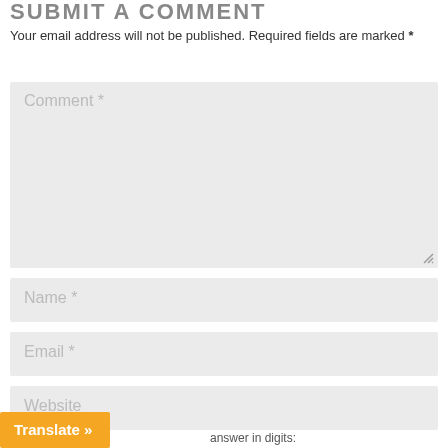SUBMIT A COMMENT
Your email address will not be published. Required fields are marked *
[Figure (screenshot): Comment textarea form field with placeholder text 'Comment *' and resize handle]
[Figure (screenshot): Name input form field with placeholder text 'Name *']
[Figure (screenshot): Email input form field with placeholder text 'Email *']
[Figure (screenshot): Website input form field with placeholder text 'Website']
Translate »
answer in digits: